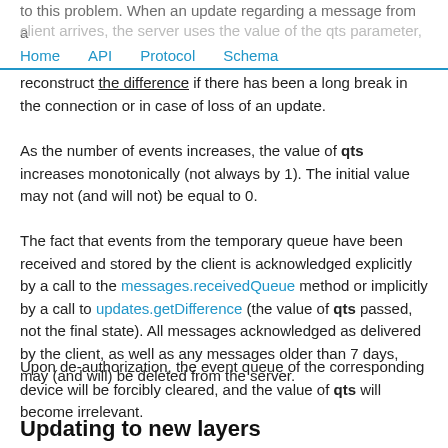to this problem. When an update regarding a message from a client arrives, the server uses the value of the qts parameter, which helps reconstruct the difference if there has been a long break in the connection or in case of loss of an update.
Home  API  Protocol  Schema
As the number of events increases, the value of qts increases monotonically (not always by 1). The initial value may not (and will not) be equal to 0.
The fact that events from the temporary queue have been received and stored by the client is acknowledged explicitly by a call to the messages.receivedQueue method or implicitly by a call to updates.getDifference (the value of qts passed, not the final state). All messages acknowledged as delivered by the client, as well as any messages older than 7 days, may (and will) be deleted from the server.
Upon de-authorization, the event queue of the corresponding device will be forcibly cleared, and the value of qts will become irrelevant.
Updating to new layers